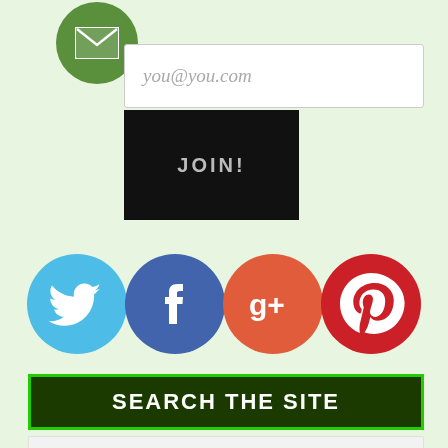[Figure (infographic): Green circular email icon with white envelope symbol]
you@you.com
JOIN!
[Figure (infographic): Four social media icons in circles: Twitter (blue bird), Facebook (blue f), Google+ (red/orange g+), Pinterest (red p)]
SEARCH THE SITE
Search this website
RECENT COMMENTS